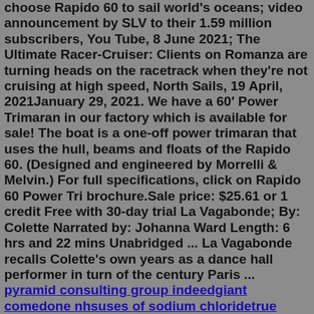choose Rapido 60 to sail world's oceans; video announcement by SLV to their 1.59 million subscribers, You Tube, 8 June 2021; The Ultimate Racer-Cruiser: Clients on Romanza are turning heads on the racetrack when they're not cruising at high speed, North Sails, 19 April, 2021January 29, 2021. We have a 60′ Power Trimaran in our factory which is available for sale! The boat is a one-off power trimaran that uses the hull, beams and floats of the Rapido 60. (Designed and engineered by Morrelli & Melvin.) For full specifications, click on Rapido 60 Power Tri brochure.Sale price: $25.61 or 1 credit Free with 30-day trial La Vagabonde; By: Colette Narrated by: Johanna Ward Length: 6 hrs and 22 mins Unabridged ... La Vagabonde recalls Colette's own years as a dance hall performer in turn of the century Paris ... pyramid consulting group indeedgiant comedone nhsuses of sodium chloridetrue meaning of runes x1